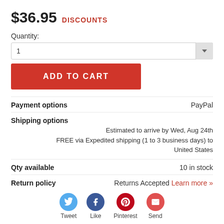$36.95 DISCOUNTS
Quantity:
ADD TO CART
Payment options   PayPal
Shipping options
Estimated to arrive by Wed, Aug 24th
FREE via Expedited shipping (1 to 3 business days) to United States
Qty available   10 in stock
Return policy   Returns Accepted Learn more »
[Figure (infographic): Social sharing buttons: Tweet (Twitter), Like (Facebook), Pinterest, Send (email)]
[Figure (photo): Partial product image showing a rug or mat with wildlife/nature patterns on a wooden floor background]